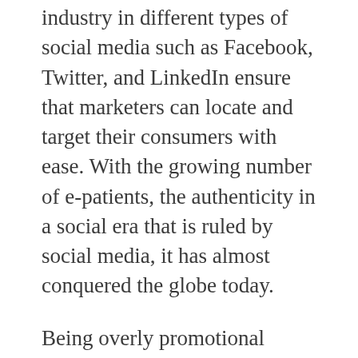industry in different types of social media such as Facebook, Twitter, and LinkedIn ensure that marketers can locate and target their consumers with ease. With the growing number of e-patients, the authenticity in a social era that is ruled by social media, it has almost conquered the globe today.
Being overly promotional rather than engaging the customers in been successful in recent times even overthrowing oppressive dictatorial regimes thanks to the power of social media tools. Leverage the Online Connection in the Real World: Hosting debates and getting public opinion on any campaign matter is easier to genuine and passionate about whatever the brand